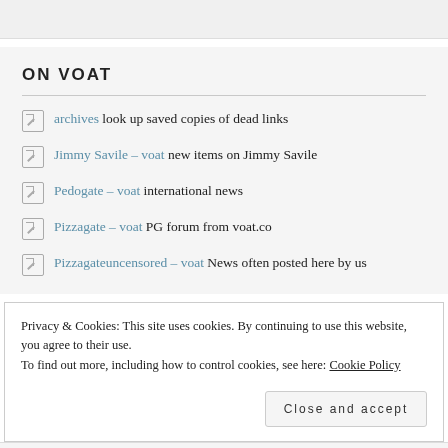ON VOAT
archives look up saved copies of dead links
Jimmy Savile – voat new items on Jimmy Savile
Pedogate – voat international news
Pizzagate – voat PG forum from voat.co
Pizzagateuncensored – voat News often posted here by us
Privacy & Cookies: This site uses cookies. By continuing to use this website, you agree to their use. To find out more, including how to control cookies, see here: Cookie Policy
Close and accept
Jason Bermas current news